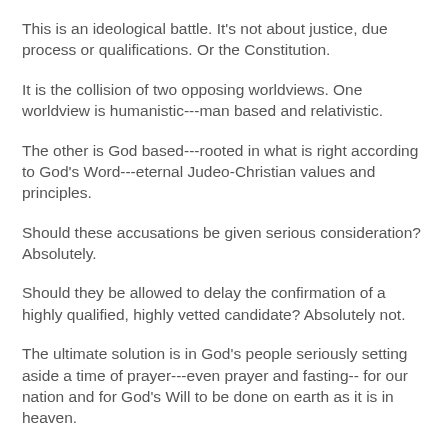This is an ideological battle. It's not about justice, due process or qualifications. Or the Constitution.
It is the collision of two opposing worldviews. One worldview is humanistic---man based and relativistic.
The other is God based---rooted in what is right according to God's Word---eternal Judeo-Christian values and principles.
Should these accusations be given serious consideration? Absolutely.
Should they be allowed to delay the confirmation of a highly qualified, highly vetted candidate? Absolutely not.
The ultimate solution is in God's people seriously setting aside a time of prayer---even prayer and fasting-- for our nation and for God's Will to be done on earth as it is in heaven.
Throughout the history of our country, there are documented